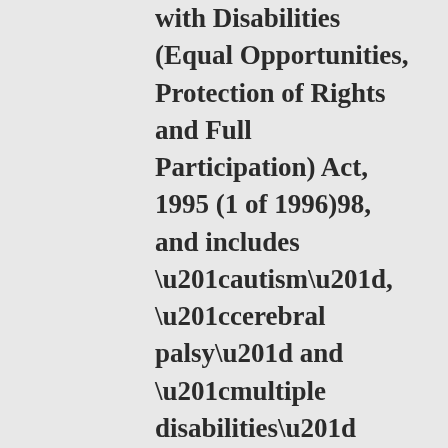with Disabilities (Equal Opportunities, Protection of Rights and Full Participation) Act, 1995 (1 of 1996)98, and includes “autism”, “cerebral palsy” and “multiple disabilities” referred to in clauses (a), (c) and (h) of section 299 of the National